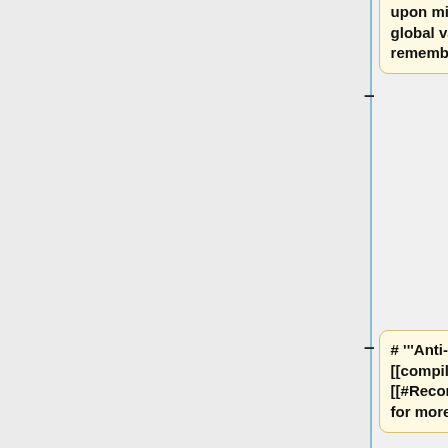upon mission start''' into a global variable - no need to remember direct paths to files.
# '''Anti-hack protection''' using [[compileFinal]] (see [[#Recompiling|Recompiling ]] for more info)
# '''Listing in the Functions Viewer'''
# '''Advanced debugging options'''